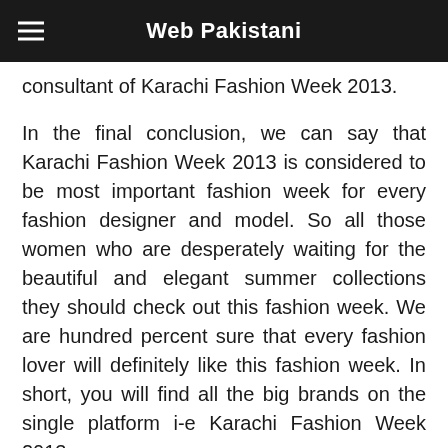Web Pakistani
consultant of Karachi Fashion Week 2013.
In the final conclusion, we can say that Karachi Fashion Week 2013 is considered to be most important fashion week for every fashion designer and model. So all those women who are desperately waiting for the beautiful and elegant summer collections they should check out this fashion week. We are hundred percent sure that every fashion lover will definitely like this fashion week. In short, you will find all the big brands on the single platform i-e Karachi Fashion Week 2013.
So don't waste your time and check out the latest summer collections by big brands only at Karachi Fashion Week 2013. We hope that fashion lovers will like all the summer collections for their summer